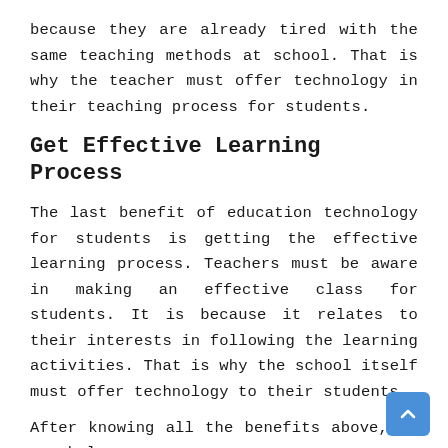because they are already tired with the same teaching methods at school. That is why the teacher must offer technology in their teaching process for students.
Get Effective Learning Process
The last benefit of education technology for students is getting the effective learning process. Teachers must be aware in making an effective class for students. It is because it relates to their interests in following the learning activities. That is why the school itself must offer technology to their students.
After knowing all the benefits above, it can help